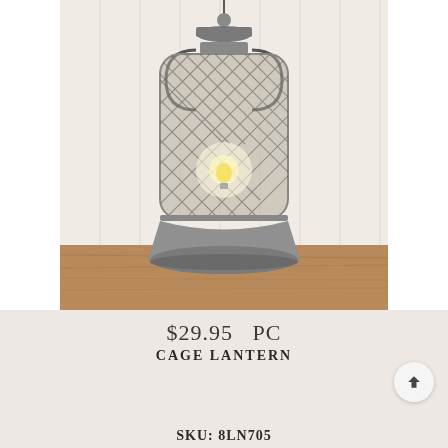[Figure (photo): A rustic wire mesh cage lantern with a gray galvanized metal base and top, displayed on a wooden surface against a white beadboard wall. The lantern is lit with a visible Edison-style bulb inside the wire cage body.]
$29.95  PC
CAGE LANTERN
SKU: 8LN705